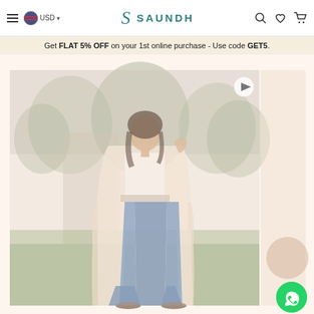SAUNDH — USD navigation header with hamburger menu, flag, search, wishlist, and cart icons
Get FLAT 5% OFF on your 1st online purchase - Use code GET5.
[Figure (photo): Fashion product photo: woman wearing a long cream/beige shrug coat over a white top and blue flare jeans, standing outdoors on green grass with trees in background. Faded warm toned background. Play button icon visible top right corner of image.]